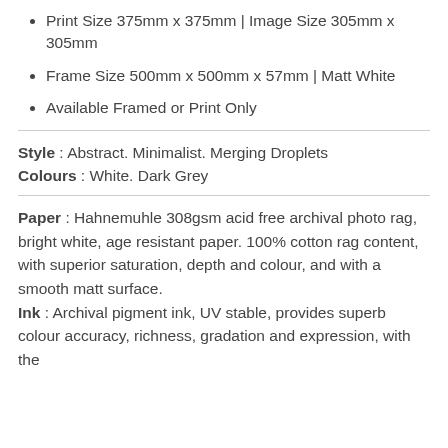Print Size 375mm x 375mm | Image Size 305mm x 305mm
Frame Size 500mm x 500mm x 57mm | Matt White
Available Framed or Print Only
Style : Abstract. Minimalist. Merging Droplets
Colours : White. Dark Grey
Paper : Hahnemuhle 308gsm acid free archival photo rag, bright white, age resistant paper. 100% cotton rag content, with superior saturation, depth and colour, and with a smooth matt surface.
Ink : Archival pigment ink, UV stable, provides superb colour accuracy, richness, gradation and expression, with the